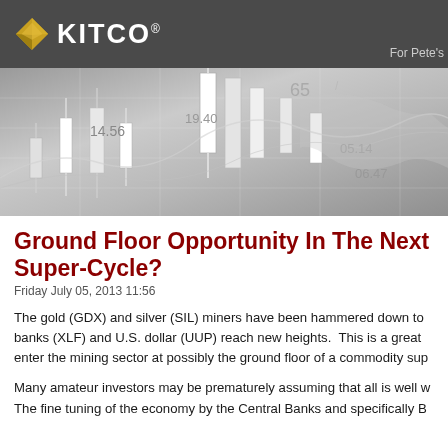KITCO® — For Pete's
[Figure (photo): Financial candlestick chart banner image with stock price numbers (14.56, 19.40, 65, 05.14, 06.47) overlaid on a grey background with chart lines and candles]
Ground Floor Opportunity In The Next Super-Cycle?
Friday July 05, 2013 11:56
The gold (GDX) and silver (SIL) miners have been hammered down to banks (XLF) and U.S. dollar (UUP) reach new heights.  This is a great enter the mining sector at possibly the ground floor of a commodity sup
Many amateur investors may be prematurely assuming that all is well w The fine tuning of the economy by the Central Banks and specifically B